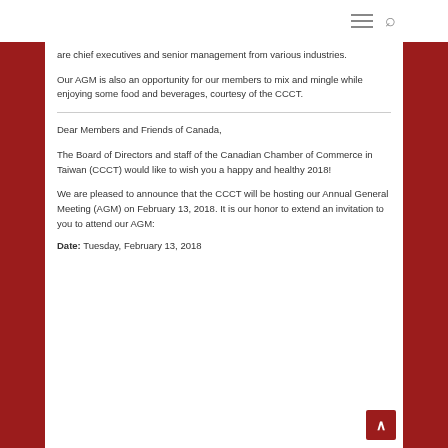are chief executives and senior management from various industries.
Our AGM is also an opportunity for our members to mix and mingle while enjoying some food and beverages, courtesy of the CCCT.
Dear Members and Friends of Canada,
The Board of Directors and staff of the Canadian Chamber of Commerce in Taiwan (CCCT) would like to wish you a happy and healthy 2018!
We are pleased to announce that the CCCT will be hosting our Annual General Meeting (AGM) on February 13, 2018. It is our honor to extend an invitation to you to attend our AGM:
Date: Tuesday, February 13, 2018